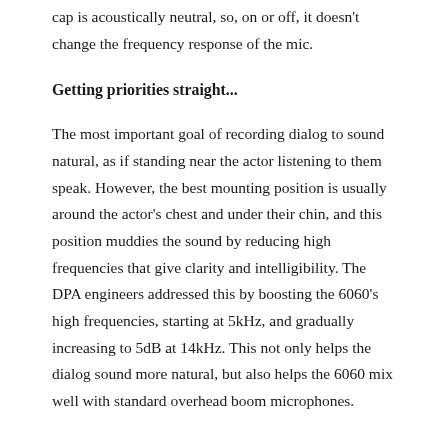cap is acoustically neutral, so, on or off, it doesn't change the frequency response of the mic.
Getting priorities straight...
The most important goal of recording dialog to sound natural, as if standing near the actor listening to them speak. However, the best mounting position is usually around the actor's chest and under their chin, and this position muddies the sound by reducing high frequencies that give clarity and intelligibility. The DPA engineers addressed this by boosting the 6060's high frequencies, starting at 5kHz, and gradually increasing to 5dB at 14kHz. This not only helps the dialog sound more natural, but also helps the 6060 mix well with standard overhead boom microphones.